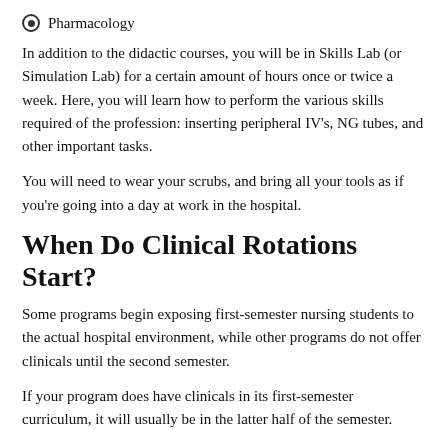Pharmacology
In addition to the didactic courses, you will be in Skills Lab (or Simulation Lab) for a certain amount of hours once or twice a week. Here, you will learn how to perform the various skills required of the profession: inserting peripheral IV's, NG tubes, and other important tasks.
You will need to wear your scrubs, and bring all your tools as if you're going into a day at work in the hospital.
When Do Clinical Rotations Start?
Some programs begin exposing first-semester nursing students to the actual hospital environment, while other programs do not offer clinicals until the second semester.
If your program does have clinicals in its first-semester curriculum, it will usually be in the latter half of the semester.
What Do I Need To Buy For Nursing School?
In addition to your textbooks, scrubs, and stethoscope, you may be exposed to a whole slew of items marketed to nursing students. These